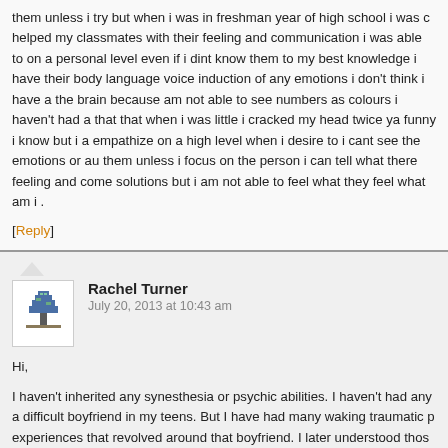them unless i try but when i was in freshman year of high school i was c helped my classmates with their feeling and communication i was able to on a personal level even if i dint know them to my best knowledge i have their body language voice induction of any emotions i don't think i have a the brain because am not able to see numbers as colours i haven't had a that that when i was little i cracked my head twice ya funny i know but i a empathize on a high level when i desire to i cant see the emotions or au them unless i focus on the person i can tell what there feeling and come solutions but i am not able to feel what they feel what am i .
[Reply]
Rachel Turner
July 20, 2013 at 10:43 am
Hi,
I haven't inherited any synesthesia or psychic abilities. I haven't had any a difficult boyfriend in my teens. But I have had many waking traumatic p experiences that revolved around that boyfriend. I later understood thos warnings to keep away from that person – a bit extreme I think lol. The p on for 9 years and has so far taken 2 years for my nervous system to re annual bouts of traumatic shock. Immediately before it happened the firs